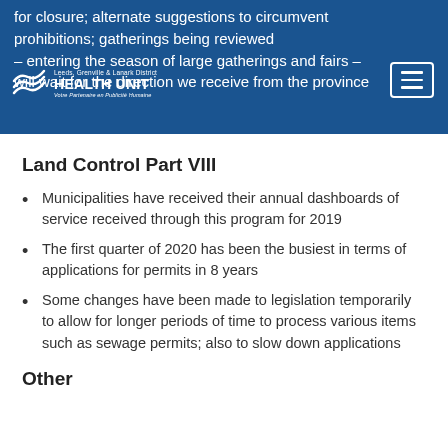for closure; alternate suggestions to circumvent prohibitions; gatherings being reviewed – entering the season of large gatherings and fairs – will wait for the direction we receive from the province
Land Control Part VIII
Municipalities have received their annual dashboards of service received through this program for 2019
The first quarter of 2020 has been the busiest in terms of applications for permits in 8 years
Some changes have been made to legislation temporarily to allow for longer periods of time to process various items such as sewage permits; also to slow down applications
Other